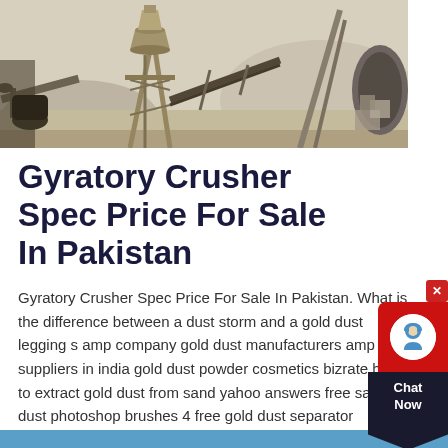[Figure (photo): Industrial gyratory crusher machinery at a mining/quarry site with conveyor belts and stone grinding equipment against a light snowy or dusty background]
Gyratory Crusher Spec Price For Sale In Pakistan
Gyratory Crusher Spec Price For Sale In Pakistan. What is the difference between a dust storm and a gold dust legging s amp company gold dust manufacturers amp suppliers in india gold dust powder cosmetics bizrate how to extract gold dust from sand yahoo answers free sand dust photoshop brushes 4 free gold dust separator machine, gold dust separator gold dust stock imag download 19,462